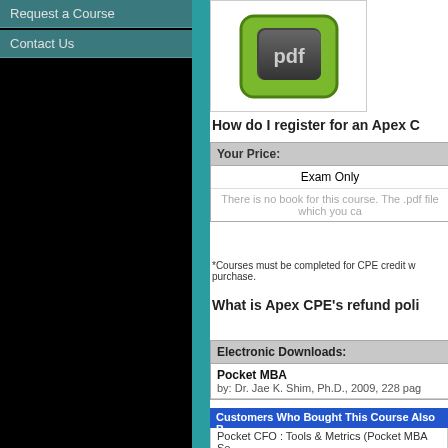Request a Course
Contact Us
[Figure (illustration): Green rounded button with dark gray inner key showing 'pdf' text]
How do I register for an Apex C
| Your Price: |
| --- |
| Exam Only |
| There is no book for this course. The .pdf file which you ca |
*Courses must be completed for CPE credit w purchase.
What is Apex CPE's refund poli
| Electronic Downloads: |
| --- |
| Pocket MBA
by: Dr. Jae K. Shim, Ph.D., 2009, 228 pag |
Customers Who Bought This Course Also B
Pocket CFO : Tools & Metrics (Pocket MBA Se